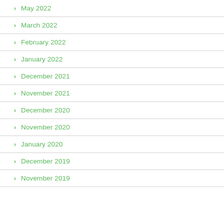May 2022
March 2022
February 2022
January 2022
December 2021
November 2021
December 2020
November 2020
January 2020
December 2019
November 2019